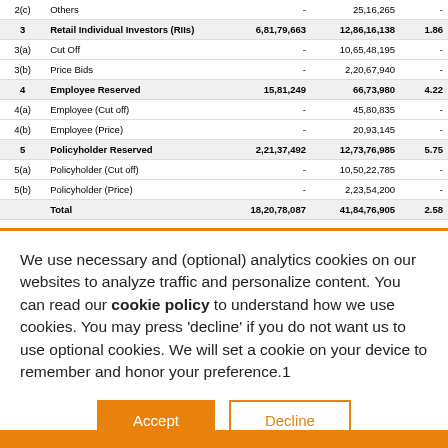|  |  |  |  |  |
| --- | --- | --- | --- | --- |
| 2(c) | Others | - | 25,16,265 | - |
| 3 | Retail Individual Investors (RIIs) | 6,81,79,663 | 12,86,16,138 | 1.86 |
| 3(a) | Cut Off | - | 10,65,48,195 | - |
| 3(b) | Price Bids | - | 2,20,67,940 | - |
| 4 | Employee Reserved | 15,81,249 | 66,73,980 | 4.22 |
| 4(a) | Employee (Cut off) | - | 45,80,835 | - |
| 4(b) | Employee (Price) | - | 20,93,145 | - |
| 5 | Policyholder Reserved | 2,21,37,492 | 12,73,76,985 | 5.75 |
| 5(a) | Policyholder (Cut off) | - | 10,50,22,785 | - |
| 5(b) | Policyholder (Price) | - | 2,23,54,200 | - |
|  | Total | 18,20,78,087 | 41,84,76,905 | 2.58 |
We use necessary and (optional) analytics cookies on our websites to analyze traffic and personalize content. You can read our cookie policy to understand how we use cookies. You may press 'decline' if you do not want us to use optional cookies. We will set a cookie on your device to remember and honor your preference.1